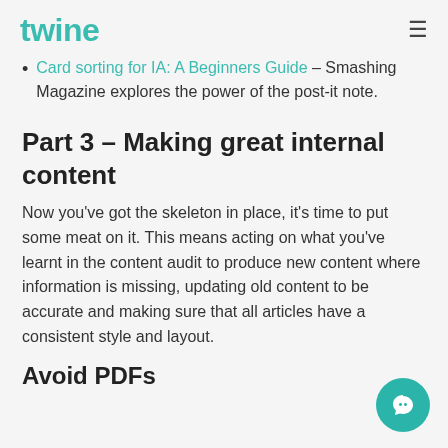twine
Card sorting for IA: A Beginners Guide – Smashing Magazine explores the power of the post-it note.
Part 3 – Making great internal content
Now you've got the skeleton in place, it's time to put some meat on it. This means acting on what you've learnt in the content audit to produce new content where information is missing, updating old content to be accurate and making sure that all articles have a consistent style and layout.
Avoid PDFs